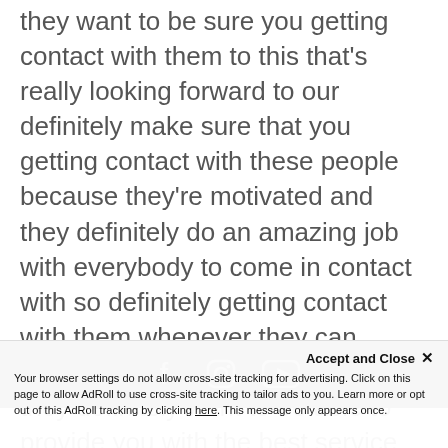they want to be sure you getting contact with them to this that's really looking forward to our definitely make sure that you getting contact with these people because they're motivated and they definitely do an amazing job with everybody to come in contact with so definitely getting contact with them whenever they can because they want to be affordable they definitely want to be able to provide you with the best service so call the 9183310404 or go to colawfitness.com
[Figure (other): Dark footer bar with Facebook, Instagram, and YouTube social media icons]
Accept and Close ×
Your browser settings do not allow cross-site tracking for advertising. Click on this page to allow AdRoll to use cross-site tracking to tailor ads to you. Learn more or opt out of this AdRoll tracking by clicking here. This message only appears once.